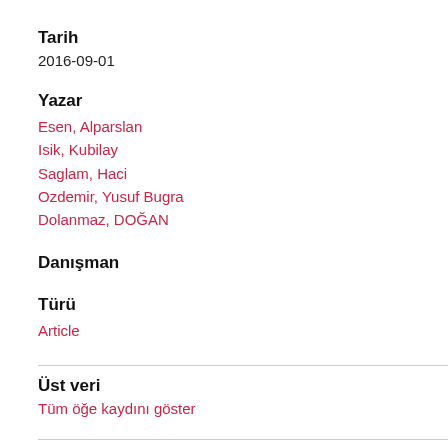Tarih
2016-09-01
Yazar
Esen, Alparslan
Isik, Kubilay
Saglam, Haci
Ozdemir, Yusuf Bugra
Dolanmaz, DOĞAN
Danışman
Türü
Article
Üst veri
Tüm öğe kaydını göster
Özet